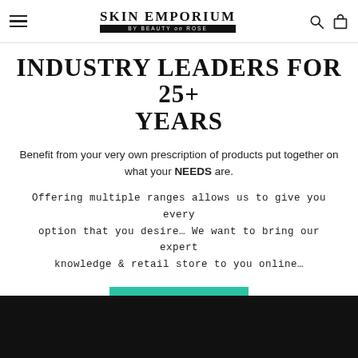SKIN EMPORIUM BY BEAUTY ON ROSE
INDUSTRY LEADERS FOR 25+ YEARS
Benefit from your very own prescription of products put together on what your NEEDS are.
Offering multiple ranges allows us to give you every option that you desire… We want to bring our expert knowledge & retail store to you online…
CONTACT US